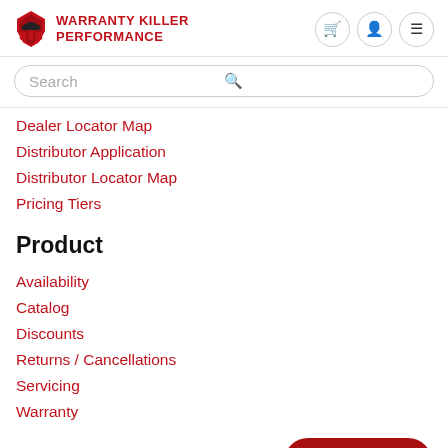[Figure (logo): Warranty Killer Performance logo with red Spartan helmet icon and red text]
Dealer Locator Map
Distributor Application
Distributor Locator Map
Pricing Tiers
Product
Availability
Catalog
Discounts
Returns / Cancellations
Servicing
Warranty
Keep in Touch
Sign up for our newsletter and be the first to know about coupons and